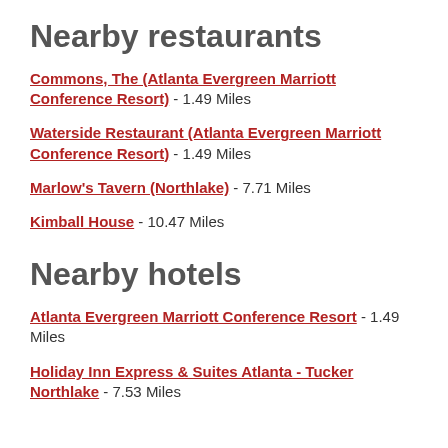Nearby restaurants
Commons, The (Atlanta Evergreen Marriott Conference Resort) - 1.49 Miles
Waterside Restaurant (Atlanta Evergreen Marriott Conference Resort) - 1.49 Miles
Marlow's Tavern (Northlake) - 7.71 Miles
Kimball House - 10.47 Miles
Nearby hotels
Atlanta Evergreen Marriott Conference Resort - 1.49 Miles
Holiday Inn Express & Suites Atlanta - Tucker Northlake - 7.53 Miles